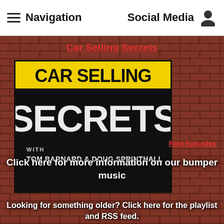Navigation   Social Media
Car Selling Secrets
[Figure (logo): Car Selling Secrets podcast logo with Tom Barnard & Doug Sprinthall on black background with yellow and white lettering]
Click here for more information on our bumper music
Past Episodes
Looking for something older?  Click here for the playlist and RSS feed.